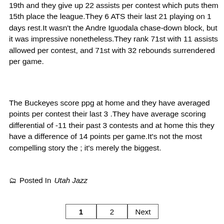19th and they give up 22 assists per contest which puts them 15th place the league.They 6 ATS their last 21 playing on 1 days rest.It wasn't the Andre Iguodala chase-down block, but it was impressive nonetheless.They rank 71st with 11 assists allowed per contest, and 71st with 32 rebounds surrendered per game.
The Buckeyes score ppg at home and they have averaged points per contest their last 3 .They have average scoring differential of -11 their past 3 contests and at home this they have a difference of 14 points per game.It's not the most compelling story the ; it's merely the biggest.
Posted In Utah Jazz
1  2  Next